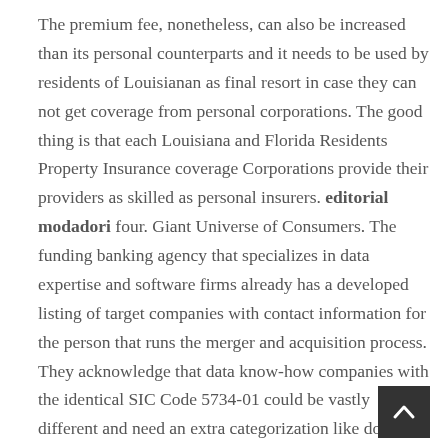The premium fee, nonetheless, can also be increased than its personal counterparts and it needs to be used by residents of Louisianan as final resort in case they can not get coverage from personal corporations. The good thing is that each Louisiana and Florida Residents Property Insurance coverage Corporations provide their providers as skilled as personal insurers. editorial modadori four. Giant Universe of Consumers. The funding banking agency that specializes in data expertise and software firms already has a developed listing of target companies with contact information for the person that runs the merger and acquisition process. They acknowledge that data know-how companies with the identical SIC Code 5734-01 could be vastly different and need an extra categorization like doc administration software program, SaaS CRM Techniques, or healthcare monetary software.